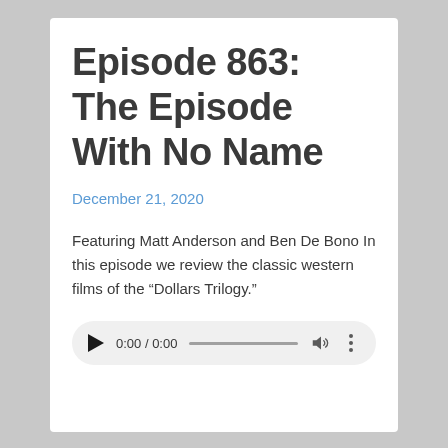Episode 863: The Episode With No Name
December 21, 2020
Featuring Matt Anderson and Ben De Bono In this episode we review the classic western films of the “Dollars Trilogy.”
[Figure (other): Audio player widget showing play button, time 0:00 / 0:00, progress bar, volume icon, and more options icon]